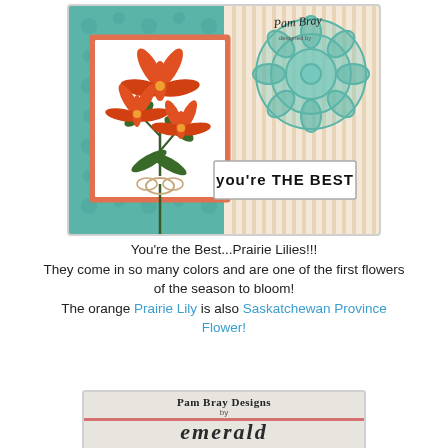[Figure (photo): Handmade greeting card featuring orange prairie lily flowers on a white mat with teal/aqua patterned backgrounds and striped paper. A sentiment tag reads 'you're the best' in bold black lettering. Designed by Pam Bray, signed in top right corner.]
You're the Best...Prairie Lilies!!!
They come in so many colors and are one of the first flowers of the season to bloom!
The orange Prairie Lily is also Saskatchewan Province Flower!
[Figure (photo): Partial view of a logo/sign for 'Pam Bray Designs by emerald' on a textured gray/beige background with a pink/red horizontal stripe.]